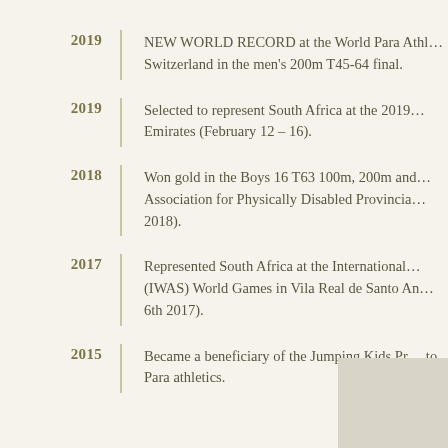2019 — NEW WORLD RECORD at the World Para Athletics in Switzerland in the men's 200m T45-64 final.
2019 — Selected to represent South Africa at the 2019 United Arab Emirates (February 12 – 16).
2018 — Won gold in the Boys 16 T63 100m, 200m and at the Association for Physically Disabled Provincial 2018).
2017 — Represented South Africa at the International (IWAS) World Games in Vila Real de Santo An 6th 2017).
2015 — Became a beneficiary of the Jumping Kids Pr to Para athletics.